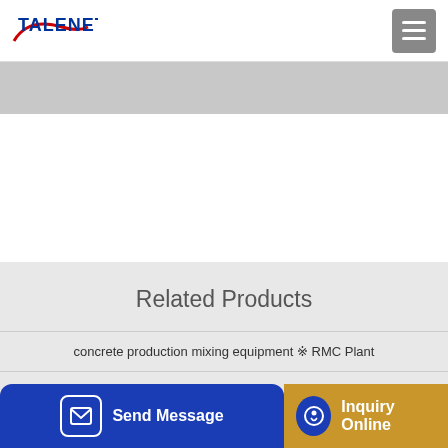TALENET
[Figure (screenshot): Gray banner / hero image area]
Related Products
concrete production mixing equipment ※ RMC Plant
batching and mixingconcrete batching plant speedcrafts
Relay Groups Pumping ... SA 81741
Send Message | Inquiry Online